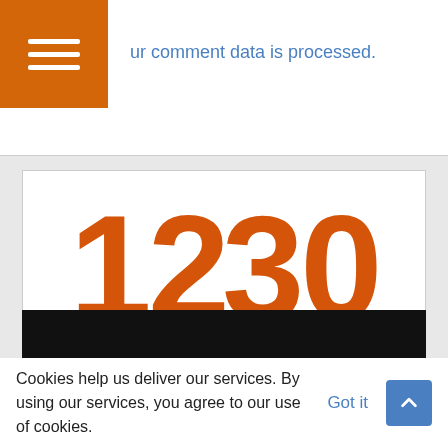[Figure (logo): Orange hamburger menu icon on orange square background]
ur comment data is processed.
[Figure (logo): 1230 WBOK AM radio station logo — 'What New Orleans Is Talking About']
[Figure (photo): Dark/black image strip at bottom of page]
Cookies help us deliver our services. By using our services, you agree to our use of cookies.
Got it